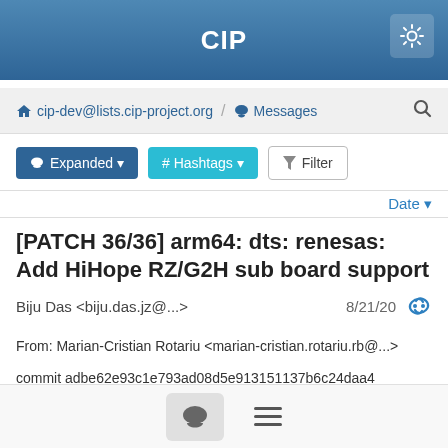CIP
cip-dev@lists.cip-project.org / Messages
Expanded  # Hashtags  Filter
Date
[PATCH 36/36] arm64: dts: renesas: Add HiHope RZ/G2H sub board support
Biju Das <biju.das.jz@...>  8/21/20
From: Marian-Cristian Rotariu <marian-cristian.rotariu.rb@...>

commit adbe62e93c1e793ad08d5e913151137b6c24daa4